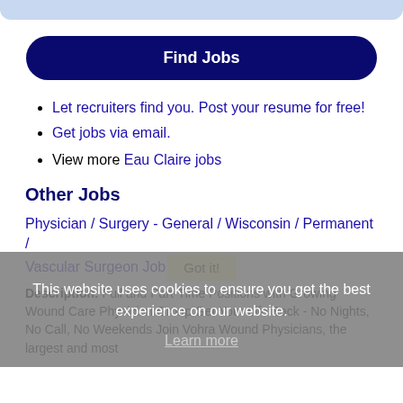[Figure (other): Top decorative bar, light blue rounded banner shape]
Find Jobs
Let recruiters find you. Post your resume for free!
Get jobs via email.
View more Eau Claire jobs
Other Jobs
Physician / Surgery - General / Wisconsin / Permanent / Vascular Surgeon Job
Description: Full and Part-Time Positions with Growing Wound Care Physician Group Get Your Life Back - No Nights, No Call, No Weekends Join Vohra Wound Physicians, the largest and most
This website uses cookies to ensure you get the best experience on our website. Learn more Got it!